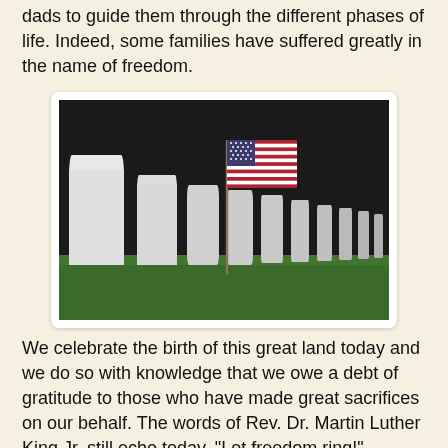dads to guide them through the different phases of life. Indeed, some families have suffered greatly in the name of freedom.
[Figure (photo): American flag planted in the grass in front of a row of white military grave markers at a national cemetery, with dark sky background.]
We celebrate the birth of this great land today and we do so with knowledge that we owe a debt of gratitude to those who have made great sacrifices on our behalf. The words of Rev. Dr. Martin Luther King Jr. still echo today, "Let freedom ring!" Indeed, it rings and we honor those who have given of themselves to ensure our liberty.
I'll conclude this post with my poem Freedom is the Cry of